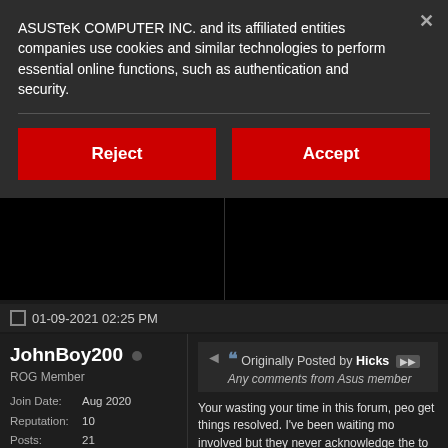ASUSTeK COMPUTER INC. and its affiliated entities companies use cookies and similar technologies to perform essential online functions, such as authentication and security.
Reject
Accept
01-09-2021 02:25 PM
JohnBoy200 •
ROG Member
Join Date: Aug 2020
Reputation: 10
Posts: 21
Originally Posted by Hicks
Any comments from Asus member
Your wasting your time in this forum, peo get things resolved. I've been waiting mo involved but they never acknowledge the to startup but they have offered a 40% bu waiting to hear, I think this latest lockdow again.

Your best bet would be to get the seri